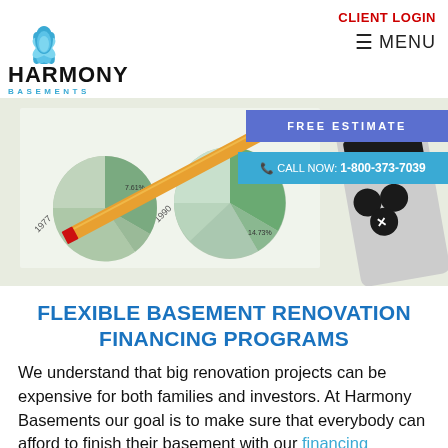[Figure (logo): Harmony Basements logo with blue lotus flower icon, company name HARMONY in bold and BASEMENTS in light blue spaced letters]
CLIENT LOGIN
☰ MENU
[Figure (photo): Photo of financial pie charts, a pencil, and a calculator on a desk with year labels 1977, 1980, 1985, 1990, 1995 and percentage labels 7.61%, 15.73%, 14.73%]
FREE ESTIMATE
📞 CALL NOW: 1-800-373-7039
FLEXIBLE BASEMENT RENOVATION FINANCING PROGRAMS
We understand that big renovation projects can be expensive for both families and investors. At Harmony Basements our goal is to make sure that everybody can afford to finish their basement with our financing